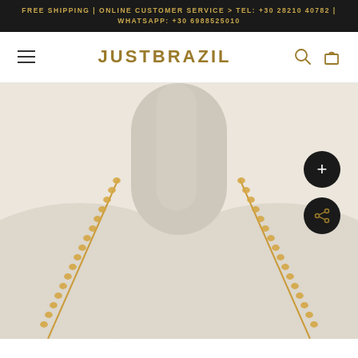FREE SHIPPING | ONLINE CUSTOMER SERVICE > TEL: +30 28210 40782 | WHATSAPP: +30 6988525010
JUSTBRAZIL
[Figure (photo): A mannequin wearing a gold chain necklace, shown from the neck and shoulders against a light beige/white background. Two dark circular buttons are overlaid on the right side: a plus (+) button and a share button.]